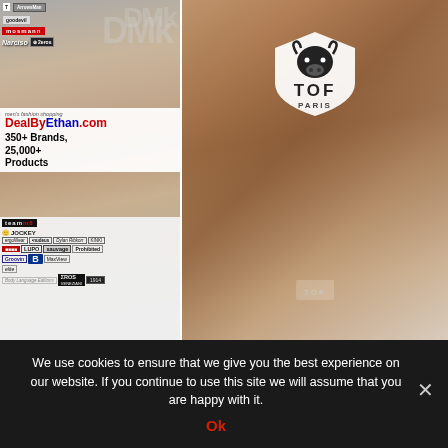[Figure (photo): Left advertisement banner for DealByEthan.com men's fashion shopping website showing brand logos (goodevil, ArrowsMan, mosmann, Narciso, 2zeros, DMK, ergoWear, nudeus, Dylan Ribkorr, KINKI, LUPO, sauvage, Prohibited, Groovin, B, MaxView, elite, EROS VENEZIANI, Body Language), a male model wearing colorful briefs, and text '350+ Brands, 25,000+ Products']
[Figure (photo): Right advertisement for TOF PARIS showing a muscular male model kneeling on a bed wearing white TOF underwear with red trim, with the TOF Paris shield logo (white bull head on shield) overlaid in the center]
We use cookies to ensure that we give you the best experience on our website. If you continue to use this site we will assume that you are happy with it.
Ok